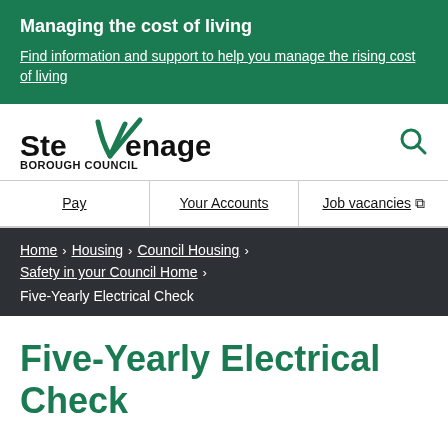Managing the cost of living
Find information and support to help you manage the rising cost of living
[Figure (logo): Stevenage Borough Council logo with green checkmark through the letter V in Stevenage]
Pay | Your Accounts | Job vacancies
Home > Housing > Council Housing > Safety in your Council Home > Five-Yearly Electrical Check
Five-Yearly Electrical Check